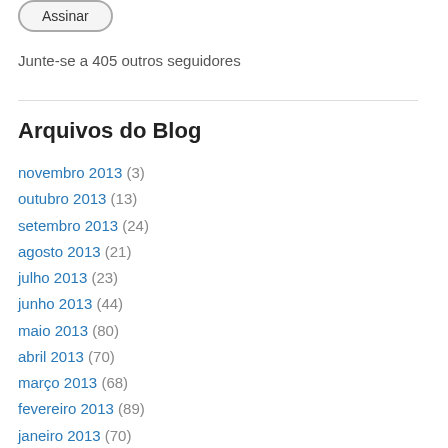[Figure (other): Assinar button with rounded rectangle border]
Junte-se a 405 outros seguidores
Arquivos do Blog
novembro 2013 (3)
outubro 2013 (13)
setembro 2013 (24)
agosto 2013 (21)
julho 2013 (23)
junho 2013 (44)
maio 2013 (80)
abril 2013 (70)
março 2013 (68)
fevereiro 2013 (89)
janeiro 2013 (70)
dezembro 2012 (78)
novembro 2012 (38)
outubro 2012 (30)